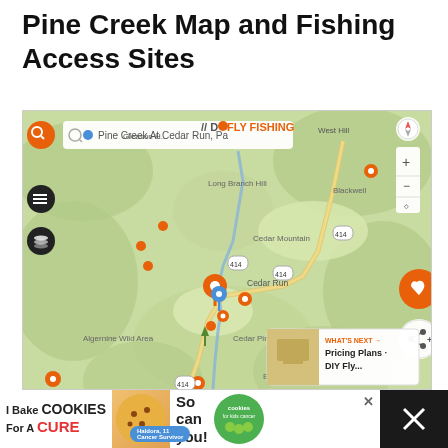Pine Creek Map and Fishing Access Sites
[Figure (map): Interactive web map showing Pine Creek area near Cedar Run, PA with orange fishing access site markers, search bar showing 'Pine Creek At Cedar Run, Pa', place labels including Gleason Hill, West Hill, Long Branch Hill, Blackwell, Cedar Mountain, Cedar Run, Cedar Pines, Algernine Wild Area, Hilborn, Beulah Land, Slate Run, route 414 markers, and UI controls including zoom buttons, compass, heart/share FABs, and a 'What's Next' card showing 'Pricing Plans - DIY Fly...' with Do Fly Fishing logo/watermark]
[Figure (screenshot): Advertisement banner: 'I Bake COOKIES For A CURE' with Haldora, 11 Cancer Survivor badge, 'So can you!' text, cookies for kids cancer green logo, and close button]